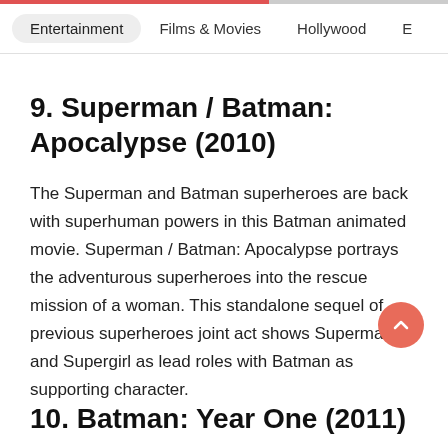Entertainment   Films & Movies   Hollywood   E
9. Superman / Batman: Apocalypse (2010)
The Superman and Batman superheroes are back with superhuman powers in this Batman animated movie. Superman / Batman: Apocalypse portrays the adventurous superheroes into the rescue mission of a woman. This standalone sequel of previous superheroes joint act shows Superman and Supergirl as lead roles with Batman as supporting character.
10. Batman: Year One (2011)